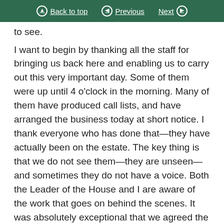Back to top | Previous | Next
to see.
I want to begin by thanking all the staff for bringing us back here and enabling us to carry out this very important day. Some of them were up until 4 o'clock in the morning. Many of them have produced call lists, and have arranged the business today at short notice. I thank everyone who has done that—they have actually been on the estate. The key thing is that we do not see them—they are unseen—and sometimes they do not have a voice. Both the Leader of the House and I are aware of the work that goes on behind the scenes. It was absolutely exceptional that we agreed the motion on virtual proceedings. Not even an hour later, our colleagues were able to take part and have a voice on one of